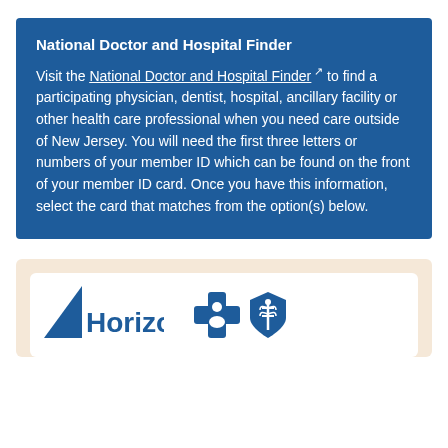National Doctor and Hospital Finder
Visit the National Doctor and Hospital Finder to find a participating physician, dentist, hospital, ancillary facility or other health care professional when you need care outside of New Jersey. You will need the first three letters or numbers of your member ID which can be found on the front of your member ID card. Once you have this information, select the card that matches from the option(s) below.
[Figure (illustration): A card area with a beige/cream background containing a white card showing the Horizon logo (blue triangle/wing shape with 'Horizon' text) on the left and the Blue Cross Blue Shield logos (blue cross with person icon and blue shield with caduceus) on the right.]